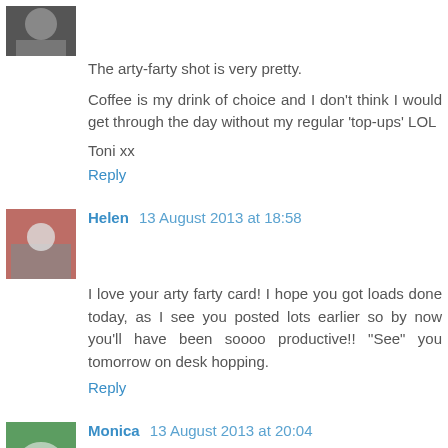[Figure (photo): Avatar thumbnail of commenter (partial, top of page)]
The arty-farty shot is very pretty.
Coffee is my drink of choice and I don't think I would get through the day without my regular 'top-ups' LOL
Toni xx
Reply
[Figure (photo): Avatar thumbnail of Helen]
Helen 13 August 2013 at 18:58
I love your arty farty card! I hope you got loads done today, as I see you posted lots earlier so by now you'll have been soooo productive!! "See" you tomorrow on desk hopping.
Reply
[Figure (photo): Avatar thumbnail of Monica]
Monica 13 August 2013 at 20:04
Nothing that tastes good is good for you according to the "in" group. Whoever they are. Morning coffee is one of lifes joys .